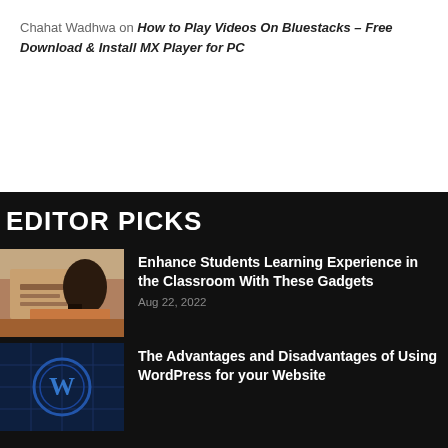Chahat Wadhwa on How to Play Videos On Bluestacks – Free Download & Install MX Player for PC
EDITOR PICKS
[Figure (photo): Student writing at a desk in a classroom setting]
Enhance Students Learning Experience in the Classroom With These Gadgets
Aug 22, 2022
[Figure (photo): Blue technology/WordPress themed background with digital elements]
The Advantages and Disadvantages of Using WordPress for your Website